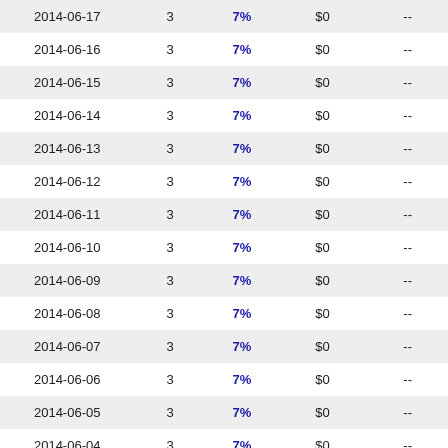| 2014-06-17 | 3 | 7% | $0 | -- |
| 2014-06-16 | 3 | 7% | $0 | -- |
| 2014-06-15 | 3 | 7% | $0 | -- |
| 2014-06-14 | 3 | 7% | $0 | -- |
| 2014-06-13 | 3 | 7% | $0 | -- |
| 2014-06-12 | 3 | 7% | $0 | -- |
| 2014-06-11 | 3 | 7% | $0 | -- |
| 2014-06-10 | 3 | 7% | $0 | -- |
| 2014-06-09 | 3 | 7% | $0 | -- |
| 2014-06-08 | 3 | 7% | $0 | -- |
| 2014-06-07 | 3 | 7% | $0 | -- |
| 2014-06-06 | 3 | 7% | $0 | -- |
| 2014-06-05 | 3 | 7% | $0 | -- |
| 2014-06-04 | 3 | 7% | $0 | -- |
| 2014-06-03 | 3 | 7% | $0 | -- |
| 2014-06-02 | 3 | 7% | $0 | -- |